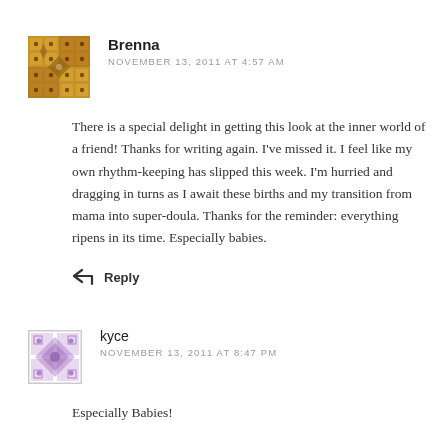[Figure (illustration): Golden/brown quilt pattern avatar for Brenna]
Brenna
NOVEMBER 13, 2011 AT 4:57 AM
There is a special delight in getting this look at the inner world of a friend! Thanks for writing again. I've missed it. I feel like my own rhythm-keeping has slipped this week. I'm hurried and dragging in turns as I await these births and my transition from mama into super-doula. Thanks for the reminder: everything ripens in its time. Especially babies.
Reply
[Figure (illustration): Purple/lavender quilt pattern avatar for kyce]
kyce
NOVEMBER 13, 2011 AT 8:47 PM
Especially Babies!